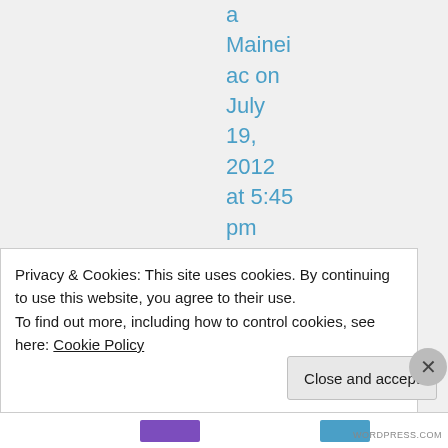a Maineiac on July 19, 2012 at 5:45 pm
Jeezum crow.
Privacy & Cookies: This site uses cookies. By continuing to use this website, you agree to their use. To find out more, including how to control cookies, see here: Cookie Policy
Close and accept